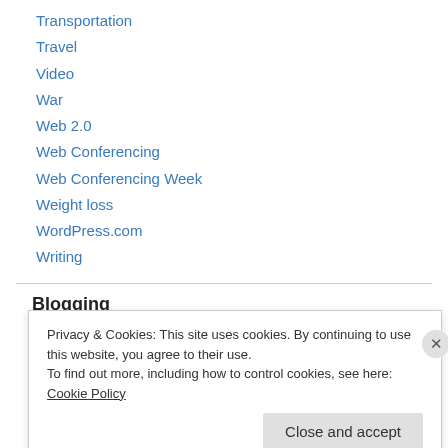Transportation
Travel
Video
War
Web 2.0
Web Conferencing
Web Conferencing Week
Weight loss
WordPress.com
Writing
Blogging
Privacy & Cookies: This site uses cookies. By continuing to use this website, you agree to their use.
To find out more, including how to control cookies, see here: Cookie Policy
Close and accept